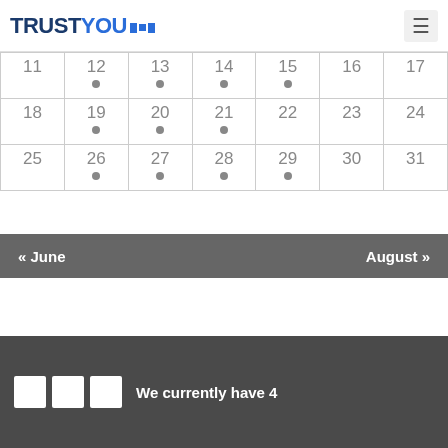TRUSTYOU
| Sun | Mon | Tue | Wed | Thu | Fri | Sat |
| --- | --- | --- | --- | --- | --- | --- |
| 11 | 12• | 13• | 14• | 15• | 16 | 17 |
| 18 | 19• | 20• | 21• | 22 | 23 | 24 |
| 25 | 26• | 27• | 28• | 29• | 30 | 31 |
« June    August »
We currently have 4